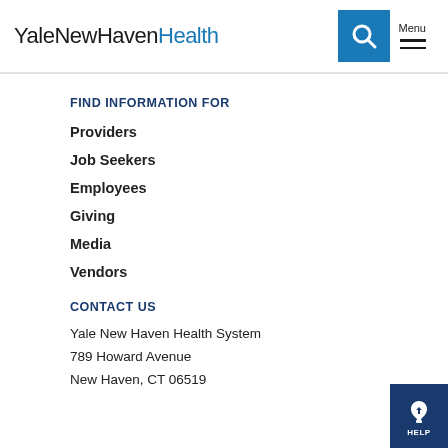YaleNewHavenHealth
FIND INFORMATION FOR
Providers
Job Seekers
Employees
Giving
Media
Vendors
CONTACT US
Yale New Haven Health System
789 Howard Avenue
New Haven, CT 06519